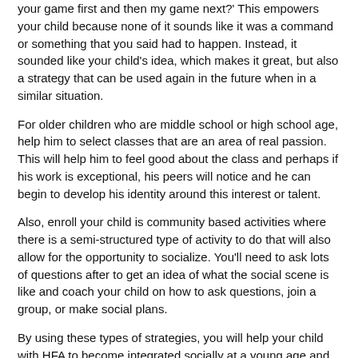your game first and then my game next?' This empowers your child because none of it sounds like it was a command or something that you said had to happen. Instead, it sounded like your child's idea, which makes it great, but also a strategy that can be used again in the future when in a similar situation.
For older children who are middle school or high school age, help him to select classes that are an area of real passion. This will help him to feel good about the class and perhaps if his work is exceptional, his peers will notice and he can begin to develop his identity around this interest or talent.
Also, enroll your child is community based activities where there is a semi-structured type of activity to do that will also allow for the opportunity to socialize. You'll need to ask lots of questions after to get an idea of what the social scene is like and coach your child on how to ask questions, join a group, or make social plans.
By using these types of strategies, you will help your child with HFA to become integrated socially at a young age and avoid isolation.
[Figure (photo): Partial image of a person, cropped at bottom of page, with decorative overlay elements visible]